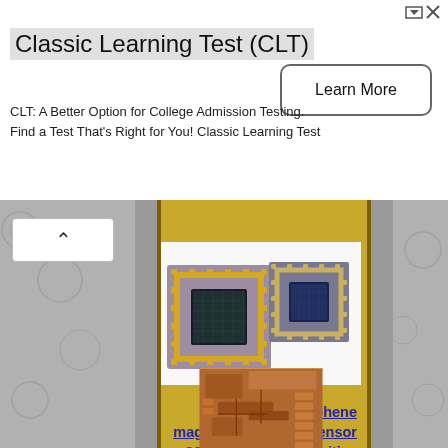[Figure (other): Advertisement banner: Classic Learning Test (CLT) with Learn More button]
[Figure (photo): Two image sensor chips (CCD/CMOS) photographed side by side on white background]
Graphene magnetoresistance sensor 200 times more sensitive than silicon
[Figure (photo): Close-up SEM or macro photo of a copper/terracotta colored microchip or sensor device]